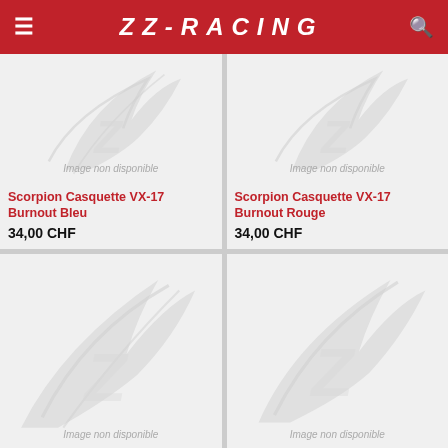ZZ-RACING
[Figure (illustration): Product placeholder image with ZZ-Racing watermark logo and text 'Image non disponible' - Scorpion Casquette VX-17 Burnout Bleu]
Scorpion Casquette VX-17 Burnout Bleu
34,00 CHF
[Figure (illustration): Product placeholder image with ZZ-Racing watermark logo and text 'Image non disponible' - Scorpion Casquette VX-17 Burnout Rouge]
Scorpion Casquette VX-17 Burnout Rouge
34,00 CHF
[Figure (illustration): Product placeholder image with ZZ-Racing watermark logo and text 'Image non disponible']
[Figure (illustration): Product placeholder image with ZZ-Racing watermark logo and text 'Image non disponible']